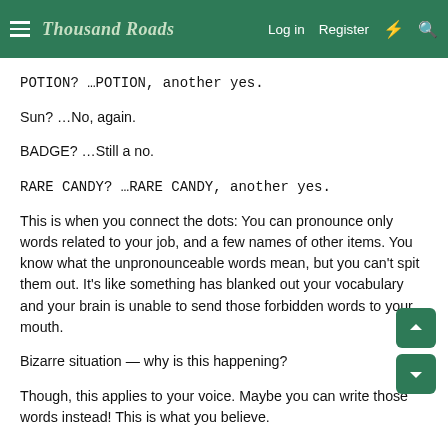Thousand Roads — Log in  Register
POTION? …POTION, another yes.
Sun? …No, again.
BADGE? …Still a no.
RARE CANDY? …RARE CANDY, another yes.
This is when you connect the dots: You can pronounce only words related to your job, and a few names of other items. You know what the unpronounceable words mean, but you can't spit them out. It's like something has blanked out your vocabulary and your brain is unable to send those forbidden words to your mouth.
Bizarre situation — why is this happening?
Though, this applies to your voice. Maybe you can write those words instead! This is what you believe.